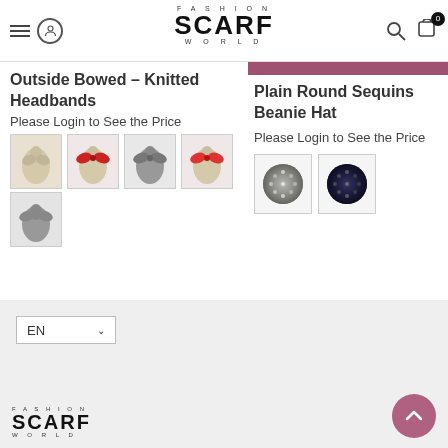Fashion Scarf World – navigation header with logo, search and cart (0 items)
Outside Bowed - Knitted Headbands
Please Login to See the Price
[Figure (photo): 5 color swatch thumbnails for Outside Bowed Knitted Headbands: beige, red bow, grey bow, red bow variant, grey]
[Figure (photo): Pink/mauve color bar for Plain Round Sequins Beanie Hat product]
Plain Round Sequins Beanie Hat
Please Login to See the Price
[Figure (photo): 2 color swatch circle thumbnails for Plain Round Sequins Beanie Hat: silver/grey sequins, dark navy sequins]
EN language selector, Fashion Scarf World footer logo, back to top button